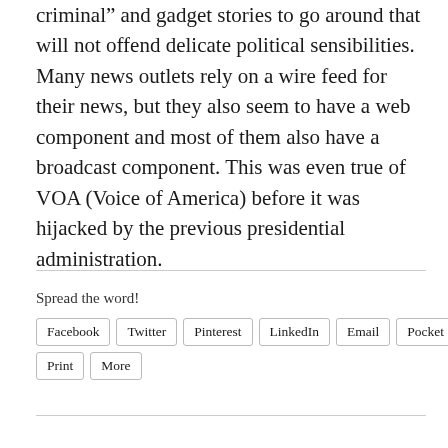criminal” and gadget stories to go around that will not offend delicate political sensibilities. Many news outlets rely on a wire feed for their news, but they also seem to have a web component and most of them also have a broadcast component. This was even true of VOA (Voice of America) before it was hijacked by the previous presidential administration.
Spread the word!
Facebook | Twitter | Pinterest | LinkedIn | Email | Pocket | Print | More